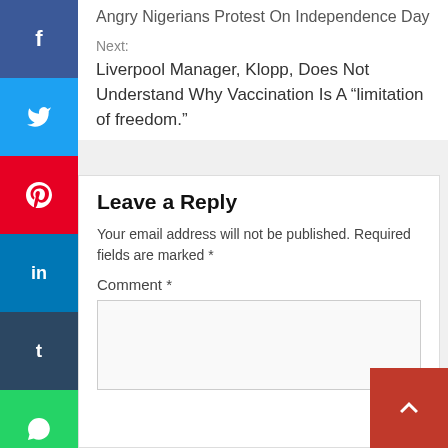Angry Nigerians Protest On Independence Day
Next:
Liverpool Manager, Klopp, Does Not Understand Why Vaccination Is A “limitation of freedom.”
Leave a Reply
Your email address will not be published. Required fields are marked *
Comment *